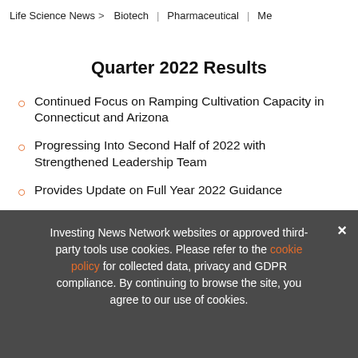Life Science News > Biotech | Pharmaceutical | Me...
Quarter 2022 Results
Continued Focus on Ramping Cultivation Capacity in Connecticut and Arizona
Progressing Into Second Half of 2022 with Strengthened Leadership Team
Provides Update on Full Year 2022 Guidance
The Greenrose Holding Company Inc. (OTC: GNR...) multi-state ... and
[Figure (infographic): Ad banner: EXCLUSIVE 2022 CANNABIS OUTLOOK REPORT. TRENDS. FORECASTS. TOP STOCKS. with orange arrow button and cannabis book image.]
Investing News Network websites or approved third-party tools use cookies. Please refer to the cookie policy for collected data, privacy and GDPR compliance. By continuing to browse the site, you agree to our use of cookies.